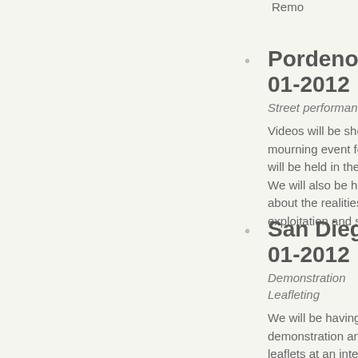Remo
Pordenone (Italy) 01-2012
Street performance
Videos will be shown mourning event for th... will be held in the city... We will also be holdin... about the realities of exploitation and slave...
San Diego (USA) 01-2012
Demonstration
Leafleting
We will be having a demonstration and ha... leaflets at an intersec... has the busiest McDo... KFC in San Diego. W... also pick another lo...